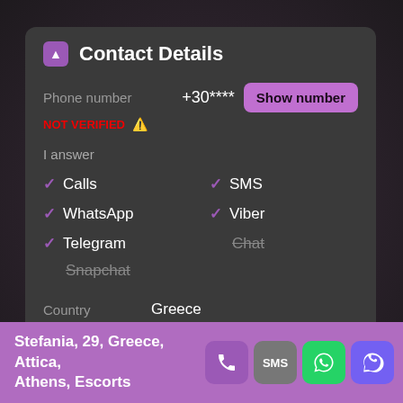Contact Details
Phone number NOT VERIFIED ⚠ +30**** Show number
I answer
✓ Calls
✓ SMS
✓ WhatsApp
✓ Viber
✓ Telegram
Chat (strikethrough)
Snapchat (strikethrough)
Country: Greece
Region: Attica
City: Athens
Stefania, 29, Greece, Attica, Athens, Escorts